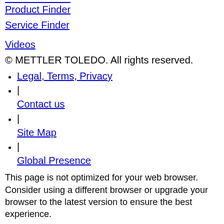Product Finder
Service Finder
Videos
© METTLER TOLEDO. All rights reserved.
Legal, Terms, Privacy
| Contact us
| Site Map
| Global Presence
This page is not optimized for your web browser. Consider using a different browser or upgrade your browser to the latest version to ensure the best experience.